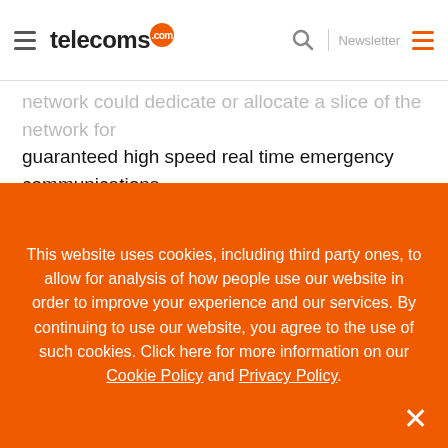telecoms.com — Newsletter
network could dedicate or allocate a slice of the network for guaranteed high speed real time emergency communications. One network, but with multiple service and tariffing options.
Developing a true, stand alone 5G network with network slicing capabilities also opens up a wealth of consumer opportunities in the low latency video space.  Real-time ultra-low latency video connections have potential in fields such as
This website uses cookies, including third party ones, to allow for analysis of how people use our website in order to improve your experience and our services. By continuing to use our website, you agree to the use of such cookies. Click here for more information on our Cookie Policy and Privacy Policy.